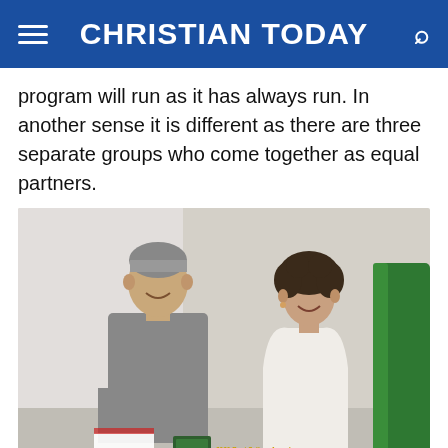CHRISTIAN TODAY
program will run as it has always run. In another sense it is different as there are three separate groups who come together as equal partners.
[Figure (photo): Two people smiling for a photo — a man in a grey shirt holding documents on the left, and a woman in a white wrap top on the right. A green chair is visible behind them. An award plaque reading '2020 Best Sellers Award New Zealand Over 21' is visible in the foreground.]